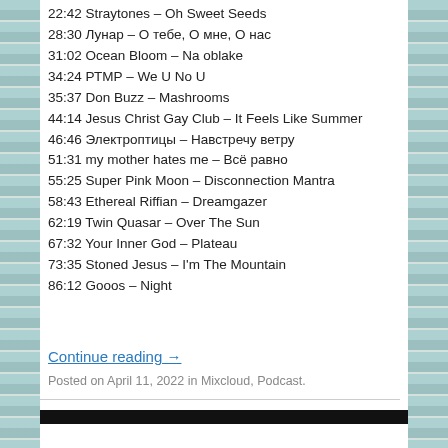22:42 Straytones – Oh Sweet Seeds
28:30 Лунар – О тебе, О мне, О нас
31:02 Ocean Bloom – Na oblake
34:24 РТМР – We U No U
35:37 Don Buzz – Mashrooms
44:14 Jesus Christ Gay Club – It Feels Like Summer
46:46 Электроптицы – Навстречу ветру
51:31 my mother hates me – Всё равно
55:25 Super Pink Moon – Disconnection Mantra
58:43 Ethereal Riffian – Dreamgazer
62:19 Twin Quasar – Over The Sun
67:32 Your Inner God – Plateau
73:35 Stoned Jesus – I'm The Mountain
86:12 Gooos – Night
Continue reading →
Posted on April 11, 2022 in Mixcloud, Podcast.
[Figure (photo): Teal/blue background image with floral or figure elements visible at bottom of page]